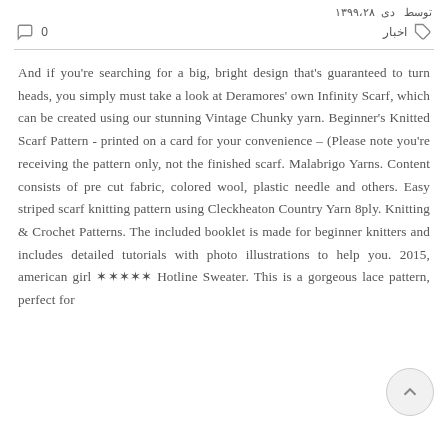توسط   دی ۱۳۹۹،۲۸
اخبار   0
And if you're searching for a big, bright design that's guaranteed to turn heads, you simply must take a look at Deramores' own Infinity Scarf, which can be created using our stunning Vintage Chunky yarn. Beginner's Knitted Scarf Pattern - printed on a card for your convenience – (Please note you're receiving the pattern only, not the finished scarf. Malabrigo Yarns. Content consists of pre cut fabric, colored wool, plastic needle and others. Easy striped scarf knitting pattern using Cleckheaton Country Yarn 8ply. Knitting & Crochet Patterns. The included booklet is made for beginner knitters and includes detailed tutorials with photo illustrations to help you. 2015, american girl ✶✶✶✶✶ Hotline Sweater. This is a gorgeous lace pattern, perfect for